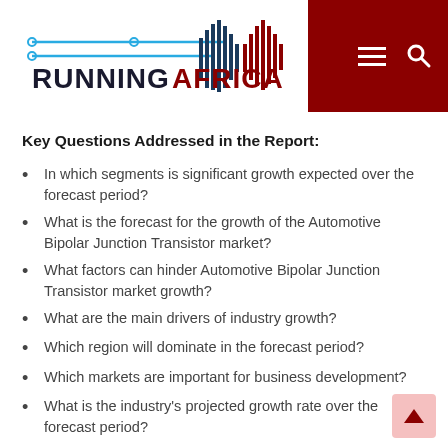RUNNING AFRICA — website header logo and navigation
Key Questions Addressed in the Report:
In which segments is significant growth expected over the forecast period?
What is the forecast for the growth of the Automotive Bipolar Junction Transistor market?
What factors can hinder Automotive Bipolar Junction Transistor market growth?
What are the main drivers of industry growth?
Which region will dominate in the forecast period?
Which markets are important for business development?
What is the industry's projected growth rate over the forecast period?